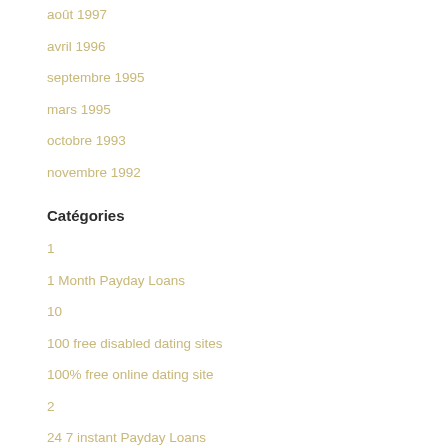août 1997
avril 1996
septembre 1995
mars 1995
octobre 1993
novembre 1992
Catégories
1
1 Month Payday Loans
10
100 free disabled dating sites
100% free online dating site
2
24 7 instant Payday Loans